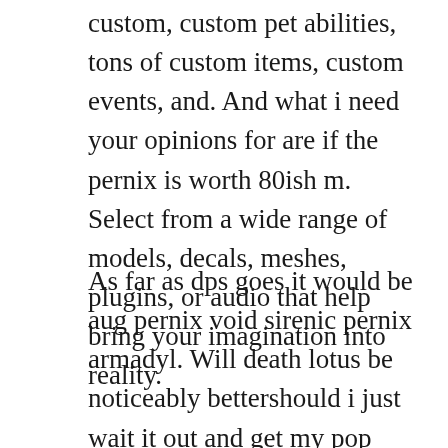custom, custom pet abilities, tons of custom items, custom events, and. And what i need your opinions for are if the pernix is worth 80ish m. Select from a wide range of models, decals, meshes, plugins, or audio that help bring your imagination into reality.
As far as dps goes it would be aug pernix void sirenic pernix armadyl. Will death lotus be noticeably bettershould i just wait it out and get my pop armour instead of bothering with pernix. Runescape fanfiction archive with over 897 stories. It is used to treat moderate to